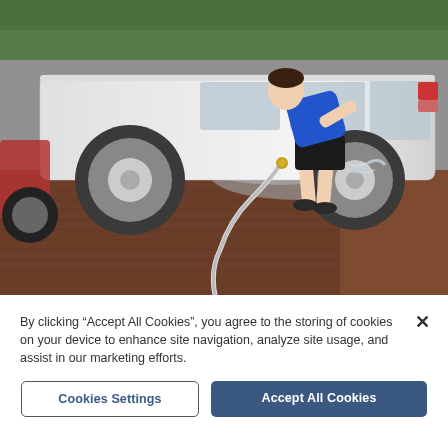[Figure (photo): A person in a blue top and black shorts washing a white SUV/minivan with a garden hose on a brick driveway. The hose runs along the ground toward the foreground. Green hedges are visible in the background.]
By clicking "Accept All Cookies", you agree to the storing of cookies on your device to enhance site navigation, analyze site usage, and assist in our marketing efforts.
Cookies Settings
Accept All Cookies